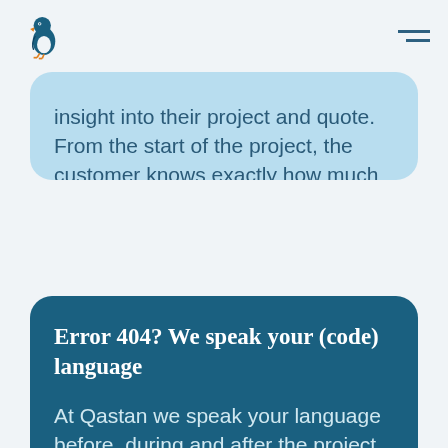Qastan logo and navigation menu
insight into their project and quote. From the start of the project, the customer knows exactly how much the total picture will cost. IT doesn't have to be expensive that way. Fair products and pricing, transparent information and no hidden costs. This way there is a real return-on-investment for every organization.
Error 404? We speak your (code) language
At Qastan we speak your language before, during and after the project. We don't